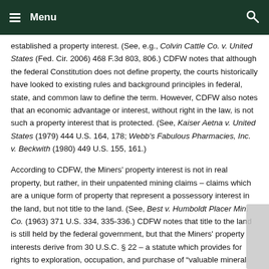Menu
established a property interest.  (See, e.g., Colvin Cattle Co. v. United States (Fed. Cir. 2006) 468 F.3d 803, 806.)  CDFW notes that although the federal Constitution does not define property, the courts historically have looked to existing rules and background principles in federal, state, and common law to define the term.  However, CDFW also notes that an economic advantage or interest, without right in the law, is not such a property interest that is protected.  (See, Kaiser Aetna v. United States (1979) 444 U.S. 164, 178; Webb's Fabulous Pharmacies, Inc. v. Beckwith (1980) 449 U.S. 155, 161.)
According to CDFW, the Miners' property interest is not in real property, but rather, in their unpatented mining claims – claims which are a unique form of property that represent a possessory interest in the land, but not title to the land.  (See, Best v. Humboldt Placer Min. Co. (1963) 371 U.S. 334, 335-336.) CDFW notes that title to the land is still held by the federal government, but that the Miners' property interests derive from 30 U.S.C. § 22 – a statute which provides for rights to exploration, occupation, and purchase of "valuable mineral deposits."  However, CDFW